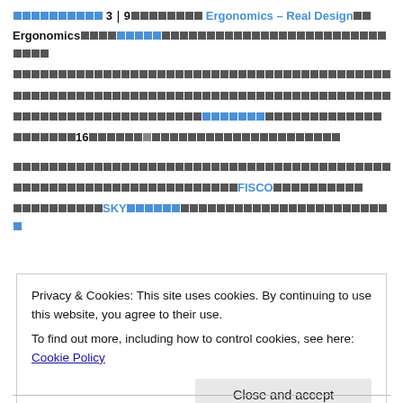[Japanese text]3｜9[Japanese text]Ergonomics – Real Design[Japanese text]
Ergonomics[Japanese text hyperlink][Japanese text]
[Japanese text]
[Japanese text]
[Japanese text][hyperlink][Japanese text]
[Japanese text]16[Japanese text]
[Japanese text]
[Japanese text]FISCO[Japanese text]
[Japanese text]SKY[hyperlink][Japanese text]
Privacy & Cookies: This site uses cookies. By continuing to use this website, you agree to their use.
To find out more, including how to control cookies, see here: Cookie Policy
Close and accept